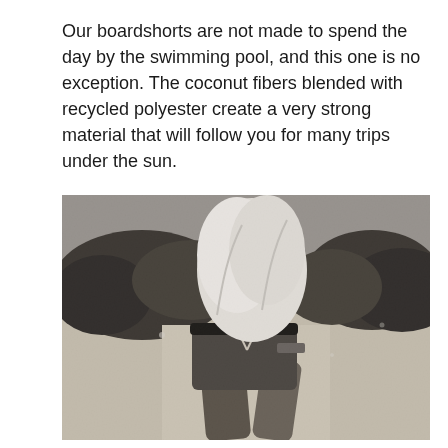Our boardshorts are not made to spend the day by the swimming pool, and this one is no exception. The coconut fibers blended with recycled polyester create a very strong material that will follow you for many trips under the sun.
[Figure (photo): Black and white underwater photograph of a person wearing boardshorts and a white shirt, crouching near a coral reef. The image shows the lower body and torso of the person with the shirt billowing upward in the water.]